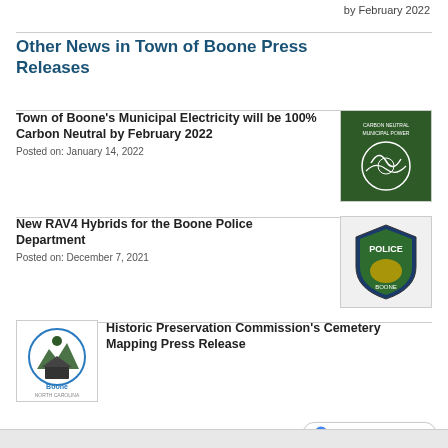by February 2022
Other News in Town of Boone Press Releases
Town of Boone's Municipal Electricity will be 100% Carbon Neutral by February 2022
Posted on: January 14, 2022
[Figure (logo): Carbon Neutral Municipal Power badge on dark green background]
New RAV4 Hybrids for the Boone Police Department
Posted on: December 7, 2021
[Figure (logo): Boone Police Department badge/shield]
[Figure (logo): Town of Boone circular logo]
Historic Preservation Commission's Cemetery Mapping Press Release
Posted on: December 3, 2021